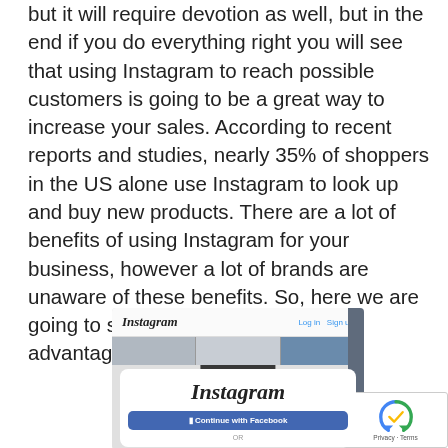but it will require devotion as well, but in the end if you do everything right you will see that using Instagram to reach possible customers is going to be a great way to increase your sales. According to recent reports and studies, nearly 35% of shoppers in the US alone use Instagram to look up and buy new products. There are a lot of benefits of using Instagram for your business, however a lot of brands are unaware of these benefits. So, here we are going to shed some light on those advantages.
[Figure (screenshot): Instagram login page screenshot showing the Instagram logo, Log in and Sign up navigation, a 'Log in to continue' banner, a modal with the Instagram wordmark, a 'Continue with Facebook' button, and an OR divider. A reCAPTCHA badge is visible in the bottom-right corner.]